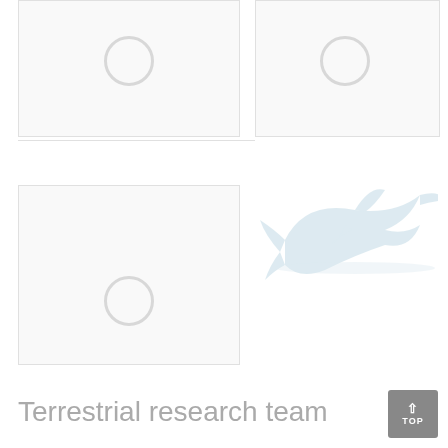[Figure (photo): Image placeholder top-left with loading circle indicator]
[Figure (photo): Image placeholder top-right with loading circle indicator]
[Figure (photo): Image placeholder mid-left with loading circle indicator]
[Figure (illustration): Dolphin watermark/logo in light blue-gray in the center-right area]
Terrestrial research team